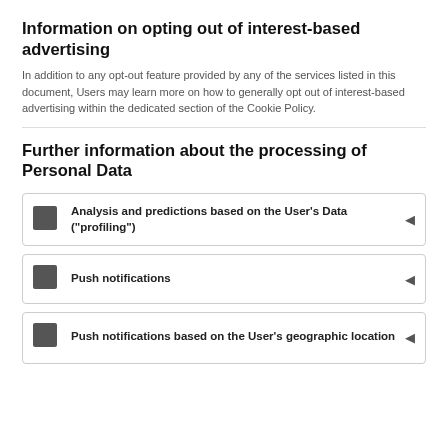Information on opting out of interest-based advertising
In addition to any opt-out feature provided by any of the services listed in this document, Users may learn more on how to generally opt out of interest-based advertising within the dedicated section of the Cookie Policy.
Further information about the processing of Personal Data
Analysis and predictions based on the User’s Data (“profiling”)
Push notifications
Push notifications based on the User's geographic location